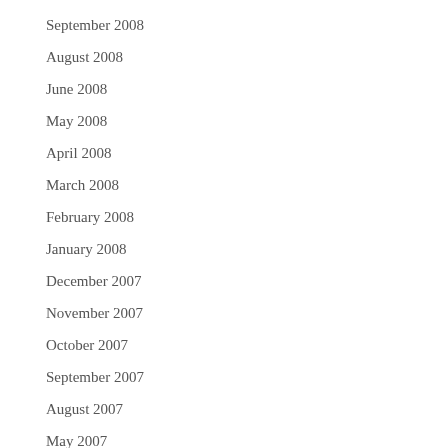September 2008
August 2008
June 2008
May 2008
April 2008
March 2008
February 2008
January 2008
December 2007
November 2007
October 2007
September 2007
August 2007
May 2007